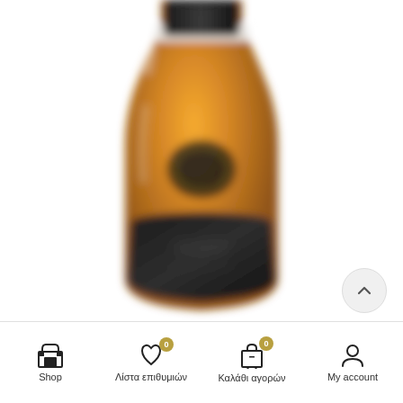[Figure (photo): Close-up photo of a whisky bottle with amber/golden liquid, black cap, black label with white text, on a white background. The bottle is blurred/out-of-focus.]
[Figure (screenshot): Mobile app bottom navigation bar with four items: Shop (store icon), Λίστα επιθυμιών (heart icon with badge '0'), Καλάθι αγορών (shopping bag icon with badge '0'), My account (person icon).]